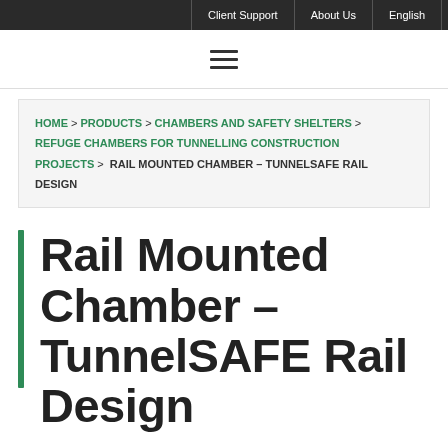Client Support | About Us | English
[Figure (other): Hamburger menu icon with three horizontal lines]
HOME > PRODUCTS > CHAMBERS AND SAFETY SHELTERS > REFUGE CHAMBERS FOR TUNNELLING CONSTRUCTION PROJECTS > RAIL MOUNTED CHAMBER – TUNNELSAFE RAIL DESIGN
Rail Mounted Chamber – TunnelSAFE Rail Design